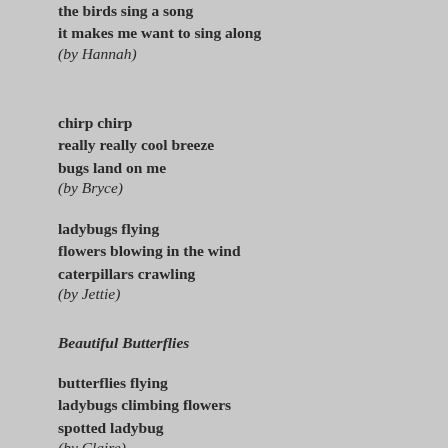the birds sing a song
it makes me want to sing along
(by Hannah)
chirp chirp
really really cool breeze
bugs land on me
(by Bryce)
ladybugs flying
flowers blowing in the wind
caterpillars crawling
(by Jettie)
Beautiful Butterflies
butterflies flying
ladybugs climbing flowers
spotted ladybug
(by Claire)